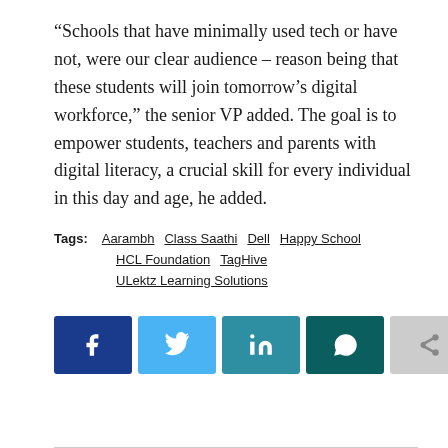“Schools that have minimally used tech or have not, were our clear audience – reason being that these students will join tomorrow’s digital workforce,” the senior VP added. The goal is to empower students, teachers and parents with digital literacy, a crucial skill for every individual in this day and age, he added.
Tags: Aarambh  Class Saathi  Dell  Happy School  HCL Foundation  TagHive  ULektz Learning Solutions
[Figure (infographic): Social sharing buttons: Facebook (dark blue), Twitter (light blue), LinkedIn (teal), WhatsApp (dark teal), Share (grey)]